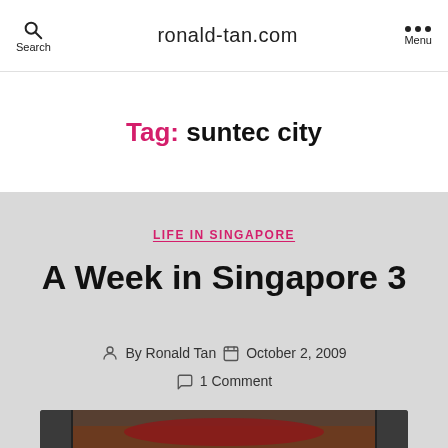Search  ronald-tan.com  Menu
Tag: suntec city
LIFE IN SINGAPORE
A Week in Singapore 3
By Ronald Tan  October 2, 2009  1 Comment
[Figure (photo): A close-up photo of a hot pot or stew with red broth and ingredients, viewed from above, partially cropped at the bottom of the page.]